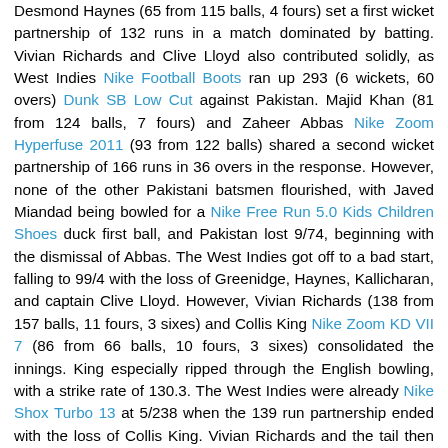Desmond Haynes (65 from 115 balls, 4 fours) set a first wicket partnership of 132 runs in a match dominated by batting. Vivian Richards and Clive Lloyd also contributed solidly, as West Indies Nike Football Boots ran up 293 (6 wickets, 60 overs) Dunk SB Low Cut against Pakistan. Majid Khan (81 from 124 balls, 7 fours) and Zaheer Abbas Nike Zoom Hyperfuse 2011 (93 from 122 balls) shared a second wicket partnership of 166 runs in 36 overs in the response. However, none of the other Pakistani batsmen flourished, with Javed Miandad being bowled for a Nike Free Run 5.0 Kids Children Shoes duck first ball, and Pakistan lost 9/74, beginning with the dismissal of Abbas. The West Indies got off to a bad start, falling to 99/4 with the loss of Greenidge, Haynes, Kallicharan, and captain Clive Lloyd. However, Vivian Richards (138 from 157 balls, 11 fours, 3 sixes) and Collis King Nike Zoom KD VII 7 (86 from 66 balls, 10 fours, 3 sixes) consolidated the innings. King especially ripped through the English bowling, with a strike rate of 130.3. The West Indies were already Nike Shox Turbo 13 at 5/238 when the 139 run partnership ended with the loss of Collis King. Vivian Richards and the tail then took the Air Jordan PRO Classic West Indies to a [continuing...]